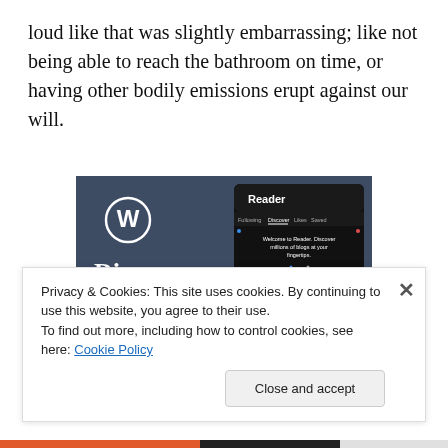loud like that was slightly embarrassing; like not being able to reach the bathroom on time, or having other bodily emissions erupt against our will.
[Figure (screenshot): WordPress Reader advertisement: dark blue background with WordPress logo, large white text 'Discover new reads on the go.' and a phone screenshot showing the Reader interface with 'You might like' section showing tags: Family, Reading, Music, and a blog entry 'Around the World with Pam'.]
Privacy & Cookies: This site uses cookies. By continuing to use this website, you agree to their use.
To find out more, including how to control cookies, see here: Cookie Policy